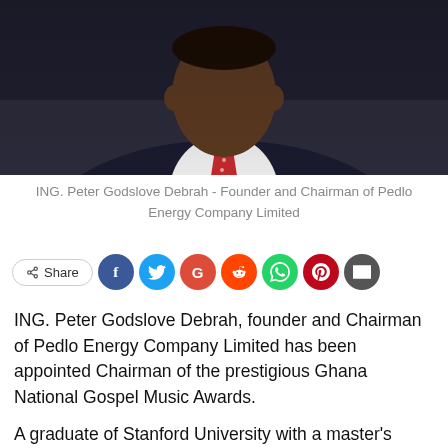[Figure (photo): Portrait photo of ING. Peter Godslove Debrah, a man in a dark navy suit with a red polka-dot tie and white shirt, against a dark background.]
ING. Peter Godslove Debrah - Founder and Chairman of Pedlo Energy Company Limited
[Figure (infographic): Social share bar with Share button and social media icons: Facebook, Twitter, Google+, Reddit, WhatsApp, Pinterest, Email]
ING. Peter Godslove Debrah, founder and Chairman of Pedlo Energy Company Limited has been appointed Chairman of the prestigious Ghana National Gospel Music Awards.
A graduate of Stanford University with a master’s degree in petroleum engineering and an